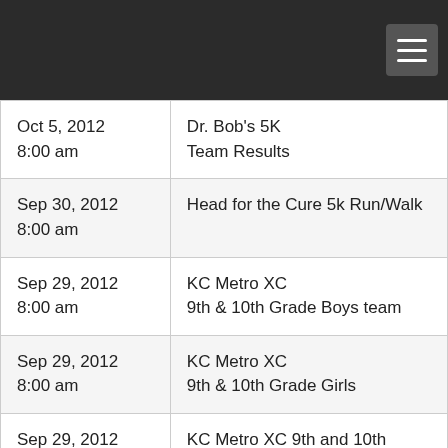| Date | Event |
| --- | --- |
| Oct 5, 2012
8:00 am | Dr. Bob's 5K
Team Results |
| Sep 30, 2012
8:00 am | Head for the Cure 5k Run/Walk |
| Sep 29, 2012
8:00 am | KC Metro XC
9th & 10th Grade Boys team |
| Sep 29, 2012
8:00 am | KC Metro XC
9th & 10th Grade Girls |
| Sep 29, 2012
8:00 am | KC Metro XC 9th and 10th |
| Sep 29, 2012 | Metro XC 9th and 10th grade |